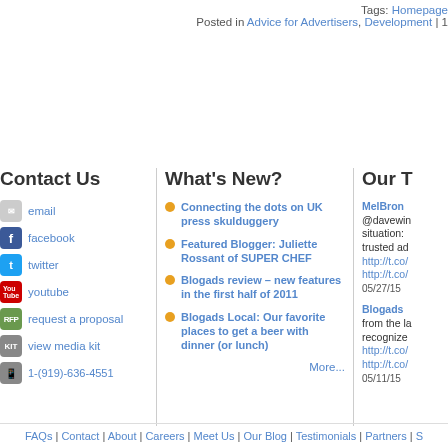Tags: Homepage
Posted in Advice for Advertisers, Development | 1
Contact Us
email
facebook
twitter
youtube
request a proposal
view media kit
1-(919)-636-4551
What's New?
Connecting the dots on UK press skulduggery
Featured Blogger: Juliette Rossant of SUPER CHEF
Blogads review – new features in the first half of 2011
Blogads Local: Our favorite places to get a beer with dinner (or lunch)
More...
Our T
MelBron @davewin situation: trusted ad http://t.co/ http://t.co/ 05/27/15
Blogads from the la recognize http://t.co/ http://t.co/ 05/11/15
FAQs | Contact | About | Careers | Meet Us | Our Blog | Testimonials | Partners | S